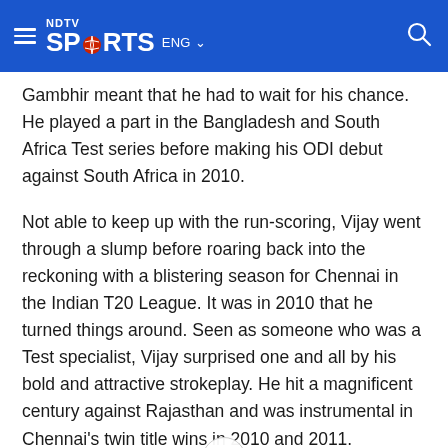NDTV SPORTS ENG
Gambhir meant that he had to wait for his chance. He played a part in the Bangladesh and South Africa Test series before making his ODI debut against South Africa in 2010.
Not able to keep up with the run-scoring, Vijay went through a slump before roaring back into the reckoning with a blistering season for Chennai in the Indian T20 League. It was in 2010 that he turned things around. Seen as someone who was a Test specialist, Vijay surprised one and all by his bold and attractive strokeplay. He hit a magnificent century against Rajasthan and was instrumental in Chennai's twin title wins in 2010 and 2011.